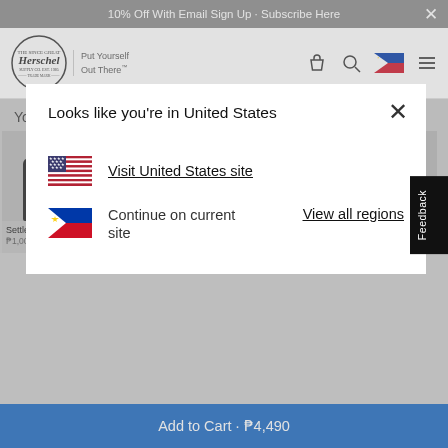10% Off With Email Sign Up - Subscribe Here
[Figure (screenshot): Herschel Supply Co. logo with 'Put Yourself Out There' tagline, navigation icons (bag, search, Philippines flag, menu)]
You might also like:
[Figure (screenshot): Modal dialog: 'Looks like you're in United States' with US flag link 'Visit United States site', Philippines flag 'Continue on current site', and 'View all regions' link]
Settlement Case
Herschel Classic Backpack | XL
Classic Water B
Add to Cart · ₱4,490